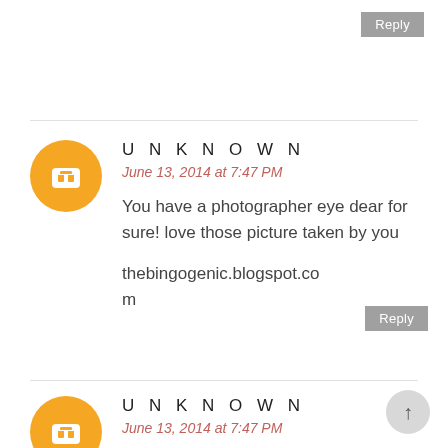Reply
UNKNOWN
June 13, 2014 at 7:47 PM
You have a photographer eye dear for sure! love those picture taken by you
thebingogenic.blogspot.com
Reply
UNKNOWN
June 13, 2014 at 7:47 PM